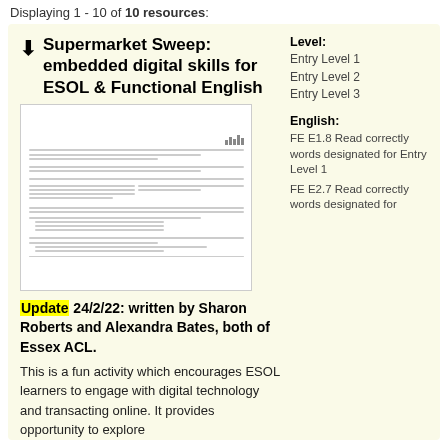Displaying 1 - 10 of 10 resources:
Supermarket Sweep: embedded digital skills for ESOL & Functional English
[Figure (illustration): Thumbnail preview of a worksheet document with logo and lines of text]
Update 24/2/22: written by Sharon Roberts and Alexandra Bates, both of Essex ACL.
This is a fun activity which encourages ESOL learners to engage with digital technology and transacting online. It provides opportunity to explore
Level: Entry Level 1, Entry Level 2, Entry Level 3
English: FE E1.8 Read correctly words designated for Entry Level 1
FE E2.7 Read correctly words designated for